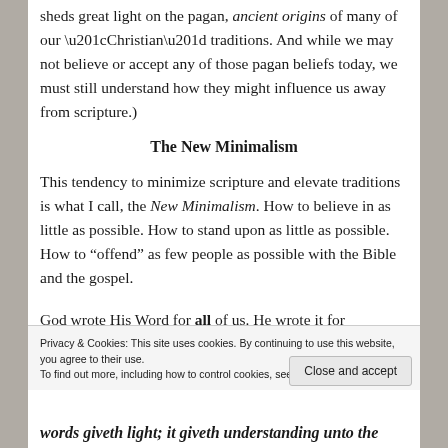sheds great light on the pagan, ancient origins of many of our “Christian” traditions. And while we may not believe or accept any of those pagan beliefs today, we must still understand how they might influence us away from scripture.)
The New Minimalism
This tendency to minimize scripture and elevate traditions is what I call, the New Minimalism. How to believe in as little as possible. How to stand upon as little as possible. How to “offend” as few people as possible with the Bible and the gospel.
God wrote His Word for all of us. He wrote it for
Privacy & Cookies: This site uses cookies. By continuing to use this website, you agree to their use.
To find out more, including how to control cookies, see here: Cookie Policy
Close and accept
words giveth light; it giveth understanding unto the